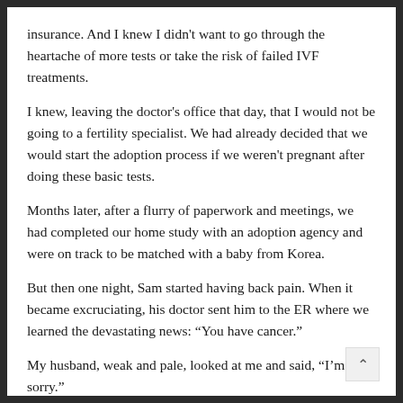insurance. And I knew I didn't want to go through the heartache of more tests or take the risk of failed IVF treatments.
I knew, leaving the doctor's office that day, that I would not be going to a fertility specialist. We had already decided that we would start the adoption process if we weren't pregnant after doing these basic tests.
Months later, after a flurry of paperwork and meetings, we had completed our home study with an adoption agency and were on track to be matched with a baby from Korea.
But then one night, Sam started having back pain. When it became excruciating, his doctor sent him to the ER where we learned the devastating news: “You have cancer.”
My husband, weak and pale, looked at me and said, “I’m so sorry.”